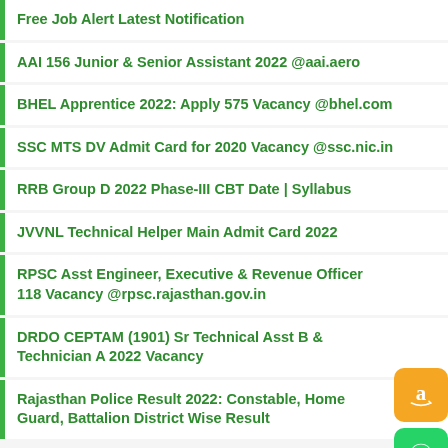Free Job Alert Latest Notification
AAI 156 Junior & Senior Assistant 2022 @aai.aero
BHEL Apprentice 2022: Apply 575 Vacancy @bhel.com
SSC MTS DV Admit Card for 2020 Vacancy @ssc.nic.in
RRB Group D 2022 Phase-III CBT Date | Syllabus
JVVNL Technical Helper Main Admit Card 2022
RPSC Asst Engineer, Executive & Revenue Officer 118 Vacancy @rpsc.rajasthan.gov.in
DRDO CEPTAM (1901) Sr Technical Asst B & Technician A 2022 Vacancy
Rajasthan Police Result 2022: Constable, Home Guard, Battalion District Wise Result